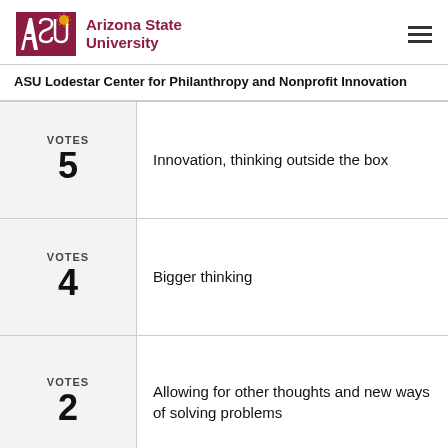ASU Arizona State University
ASU Lodestar Center for Philanthropy and Nonprofit Innovation
| VOTES | Response |
| --- | --- |
| VOTES
5 | Innovation, thinking outside the box |
| VOTES
4 | Bigger thinking |
| VOTES
2 | Allowing for other thoughts and new ways of solving problems |
| VOTES
(partial) | To motivate/inspire leaders to be innovative in how... |